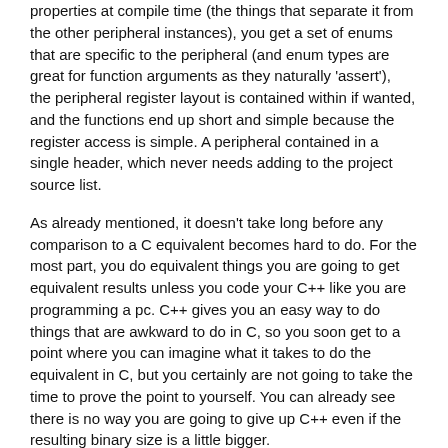properties at compile time (the things that separate it from the other peripheral instances), you get a set of enums that are specific to the peripheral (and enum types are great for function arguments as they naturally 'assert'),  the peripheral register layout is contained within if wanted, and the functions end up short and simple because the register access is simple. A peripheral contained in a single header, which never needs adding to the project source list.
As already mentioned, it doesn't take long before any comparison to a C equivalent becomes hard to do. For the most part, you do equivalent things you are going to get equivalent results unless you code your C++ like you are programming a pc. C++ gives you an easy way to do things that are awkward to do in C, so you soon get to a point where you can imagine what it takes to do the equivalent in C, but you certainly are not going to take the time to prove the point to yourself. You can already see there is no way you are going to give up C++ even if the resulting binary size is a little bigger.
What does happen, is you get a system that is easy to use so you use it (size increases)- have a Buffer class and a Usart class that can optionally take in a Buffer? little reason not to use it as only requires a line of code to create the Buffer and you no longer block on any uart output. Nice buffer in place, so why not send debug info out the uart at high speed (no major effect on running mcu), turning on/off the debug output as needed (single line of code). Rtc and Time classes in place? Well, since we now have a system time in unix seconds and fractional time in 0-999ms, may as well output the system time in